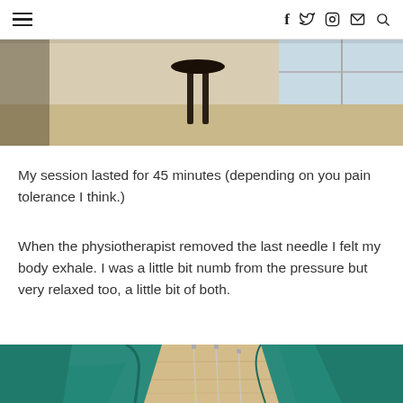≡  f  twitter  instagram  mail  search
[Figure (photo): Top portion of a physiotherapy room visible at the top of the page — beige walls, a dark stool, and a window in the background.]
My session lasted for 45 minutes (depending on you pain tolerance I think.)
When the physiotherapist removed the last needle I felt my body exhale. I was a little bit numb from the pressure but very relaxed too, a little bit of both.
[Figure (photo): Close-up photo of acupuncture needles inserted into a body part draped with teal/green cloth, on a wooden surface.]